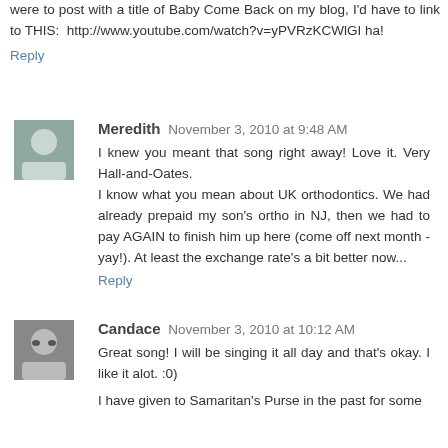were to post with a title of Baby Come Back on my blog, I'd have to link to THIS: http://www.youtube.com/watch?v=yPVRzKCWlGI ha!
Reply
Meredith November 3, 2010 at 9:48 AM
I knew you meant that song right away! Love it. Very Hall-and-Oates.
I know what you mean about UK orthodontics. We had already prepaid my son's ortho in NJ, then we had to pay AGAIN to finish him up here (come off next month - yay!). At least the exchange rate's a bit better now...
Reply
Candace November 3, 2010 at 10:12 AM
Great song! I will be singing it all day and that's okay. I like it alot. :0)
I have given to Samaritan's Purse in the past for some